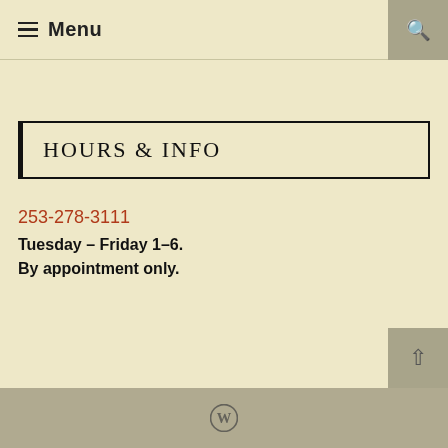≡ Menu
HOURS & INFO
253-278-3111
Tuesday – Friday 1–6.
By appointment only.
WordPress logo / back to top